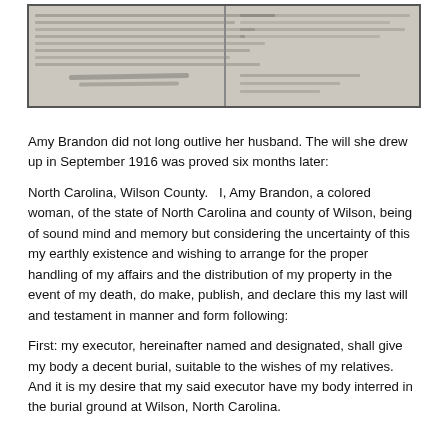[Figure (photo): Scanned historical document image showing two panels of handwritten/printed legal text, appearing to be a will or legal record from the early 20th century. The document is in black and white with cursive handwriting visible.]
Amy Brandon did not long outlive her husband. The will she drew up in September 1916 was proved six months later:
North Carolina, Wilson County.   I, Amy Brandon, a colored woman, of the state of North Carolina and county of Wilson, being of sound mind and memory but considering the uncertainty of this my earthly existence and wishing to arrange for the proper handling of my affairs and the distribution of my property in the event of my death, do make, publish, and declare this my last will and testament in manner and form following:
First: my executor, hereinafter named and designated, shall give my body a decent burial, suitable to the wishes of my relatives. And it is my desire that my said executor have my body interred in the burial ground at Wilson, North Carolina.